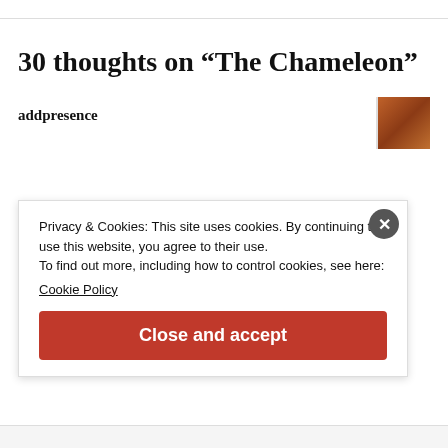30 thoughts on “The Chameleon”
addpresence
Privacy & Cookies: This site uses cookies. By continuing to use this website, you agree to their use.
To find out more, including how to control cookies, see here:
Cookie Policy
Close and accept